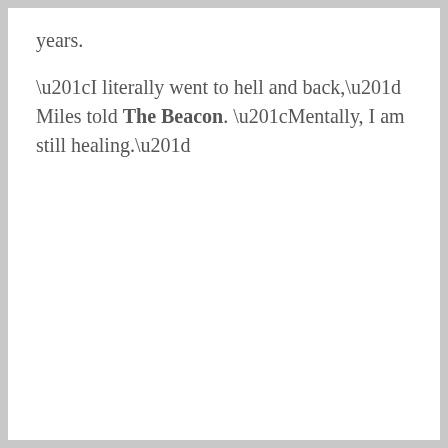years.
“I literally went to hell and back,” Miles told The Beacon. “Mentally, I am still healing.”